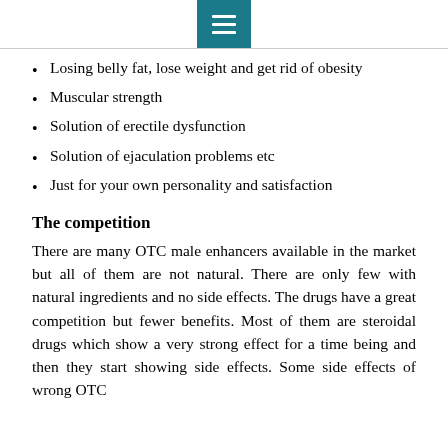☰
Losing belly fat, lose weight and get rid of obesity
Muscular strength
Solution of erectile dysfunction
Solution of ejaculation problems etc
Just for your own personality and satisfaction
The competition
There are many OTC male enhancers available in the market but all of them are not natural. There are only few with natural ingredients and no side effects. The drugs have a great competition but fewer benefits. Most of them are steroidal drugs which show a very strong effect for a time being and then they start showing side effects. Some side effects of wrong OTC